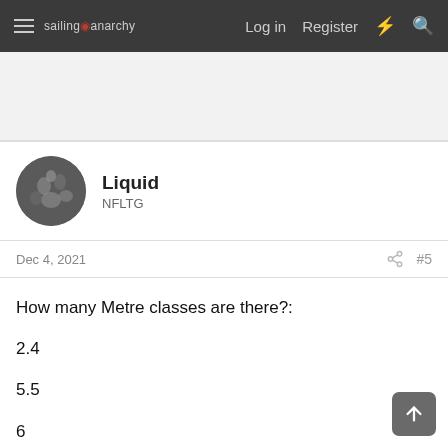sailing anarchy — Log in   Register
[Figure (other): Advertisement banner area (blank/gray)]
Liquid
NFLTG
Dec 4, 2021   #5
How many Metre classes are there?:

2.4

5.5

6

12